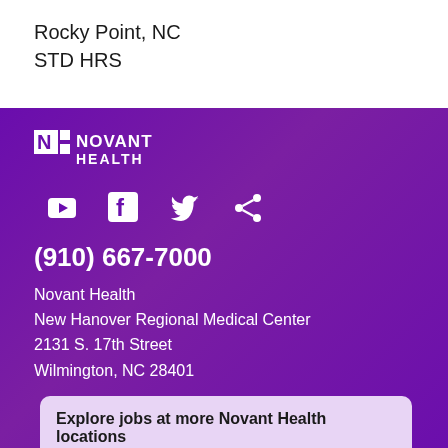Rocky Point, NC
STD HRS
[Figure (logo): Novant Health logo in white on purple background, with social media icons (YouTube, Facebook, Twitter, Share)]
(910) 667-7000
Novant Health
New Hanover Regional Medical Center
2131 S. 17th Street
Wilmington, NC 28401
Explore jobs at more Novant Health locations